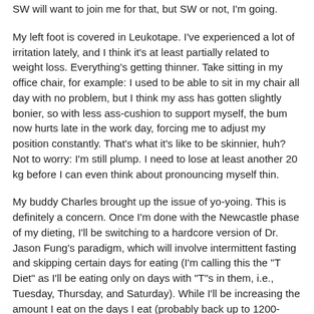SW will want to join me for that, but SW or not, I'm going.
My left foot is covered in Leukotape. I've experienced a lot of irritation lately, and I think it's at least partially related to weight loss. Everything's getting thinner. Take sitting in my office chair, for example: I used to be able to sit in my chair all day with no problem, but I think my ass has gotten slightly bonier, so with less ass-cushion to support myself, the bum now hurts late in the work day, forcing me to adjust my position constantly. That's what it's like to be skinnier, huh? Not to worry: I'm still plump. I need to lose at least another 20 kg before I can even think about pronouncing myself thin.
My buddy Charles brought up the issue of yo-yoing. This is definitely a concern. Once I'm done with the Newcastle phase of my dieting, I'll be switching to a hardcore version of Dr. Jason Fung's paradigm, which will involve intermittent fasting and skipping certain days for eating (I'm calling this the "T Diet" as I'll be eating only on days with "T"s in them, i.e., Tuesday, Thursday, and Saturday). While I'll be increasing the amount I eat on the days I eat (probably back up to 1200-1500 calories, maybe even up to 2000), I'm hoping the calories will average out to something close to